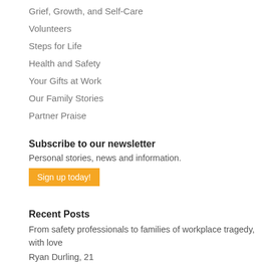Grief, Growth, and Self-Care
Volunteers
Steps for Life
Health and Safety
Your Gifts at Work
Our Family Stories
Partner Praise
Subscribe to our newsletter
Personal stories, news and information.
Sign up today!
Recent Posts
From safety professionals to families of workplace tragedy, with love
Ryan Durling, 21